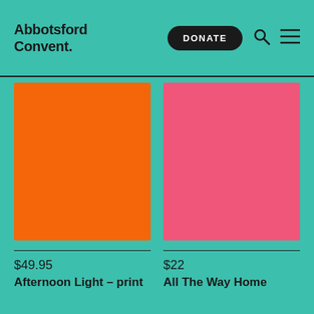Abbotsford Convent.
[Figure (other): Orange rectangular product image placeholder for Afternoon Light print]
$49.95
Afternoon Light – print
Claire McCall
[Figure (other): Pink rectangular product image placeholder for All The Way Home]
$22
All The Way Home
Kids' Own Publishing